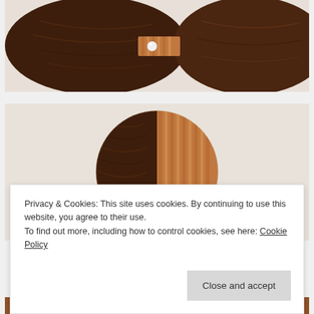[Figure (photo): Wooden cutting boards or serving boards made from dark walnut and light cherry wood, shown from above, partially overlapping, with a small white ball visible between them]
[Figure (photo): A round wooden board made from two halves — dark walnut on the left and lighter cherry wood strips on the right — displayed on a white background]
Privacy & Cookies: This site uses cookies. By continuing to use this website, you agree to their use.
To find out more, including how to control cookies, see here: Cookie Policy
[Figure (photo): Partial view of wooden boards at the bottom of the page]